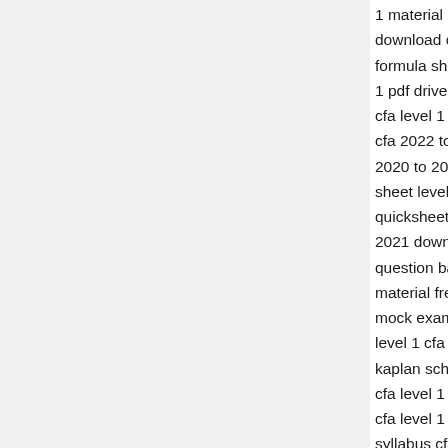1 material 2021 best question bank for cfa level 1 download cfa level 1 mock exam 2021 pdf with an formula sheet schweser study notes pdf cfa exam q 1 pdf drive cfa level 3 free download kaplan cfa le cfa level 1 mock exam download cfa level 2 kapla cfa 2022 torrent cfa level 1 study material free dow 2020 to 2021 cfa level 2 notes free download cfa le sheet level 1 cfa level 2 quicksheet 2021 pdf cfa 2 quicksheet 2021 pdf cfa level 1 qbank free downlo 2021 download cfa level 1 free practice questions question bank cfa level 1 2022 changes cfa level 1 material free download cfa material level 1 pdf dow mock exams for cfa level 1 نموذج امتحان cfa cfa c level 1 cfa level 1 summary sheet cfa schweser not kaplan schweser pdf cfa level 1 mock exam 2020 c cfa level 1 2022 fintree cfa level 1 juice notes pdf cfa level 1 reviewer cfa level 3 quicksheet 2021 pd syllabus cfa questions bank wiley cfa level 3 pdf q level 1 test series cfa level 3 formula sheet 2021 cf question bank cfa level 1 secret sauce 2020 pdf fre quantitative methods questions pdf cfa level 1 202 material pdf cfa 2022 changes cfa 2022 vs 2021 c